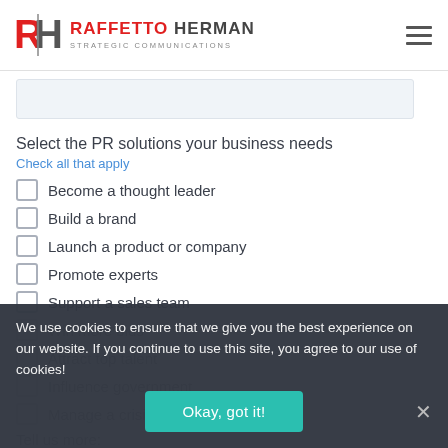[Figure (logo): Raffetto Herman Strategic Communications logo with RH monogram in red and grey]
[Figure (screenshot): Empty light blue-grey input/text area box]
Select the PR solutions your business needs
Check all that apply
Become a thought leader
Build a brand
Launch a product or company
Promote experts
Support a sales team
Win more bids
Attract top talent
Influence government
Manage a crisis
Tell us more:
We use cookies to ensure that we give you the best experience on our website. If you continue to use this site, you agree to our use of cookies!